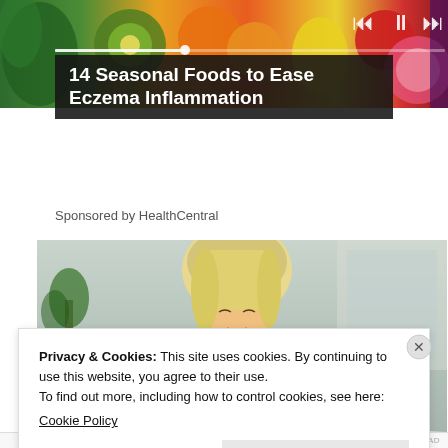[Figure (photo): Colorful fruits and vegetables arranged as a banner image at the top of the page, with media player icons overlaid]
14 Seasonal Foods to Ease Eczema Inflammation
Sponsored by HealthCentral
[Figure (photo): A blonde woman in a yellow knit sweater looking down and scratching her arm, suggesting eczema discomfort]
Privacy & Cookies: This site uses cookies. By continuing to use this website, you agree to their use.
To find out more, including how to control cookies, see here: Cookie Policy
Close and accept